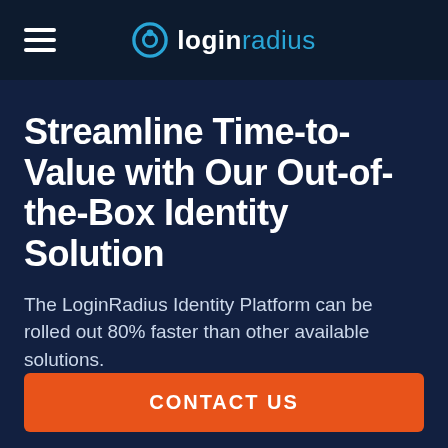loginradius
Streamline Time-to-Value with Our Out-of-the-Box Identity Solution
The LoginRadius Identity Platform can be rolled out 80% faster than other available solutions.
CONTACT US